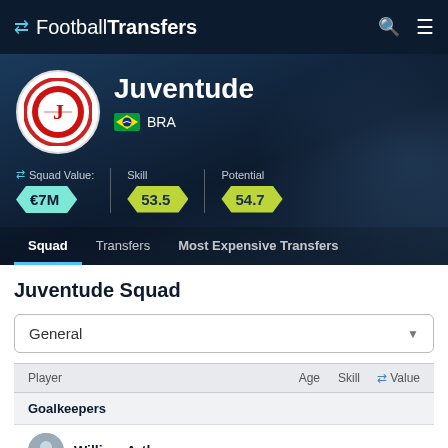FootballTransfers
[Figure (logo): Juventude FC club crest - red and white circular badge]
Juventude
BRA
Squad Value: €7M  Skill 53.5  Potential 54.7
Squad  Transfers  Most Expensive Transfers
Juventude Squad
| Player | Age | Skill | Value |
| --- | --- | --- | --- |
| William Arthur |  |  |  |
Goalkeepers